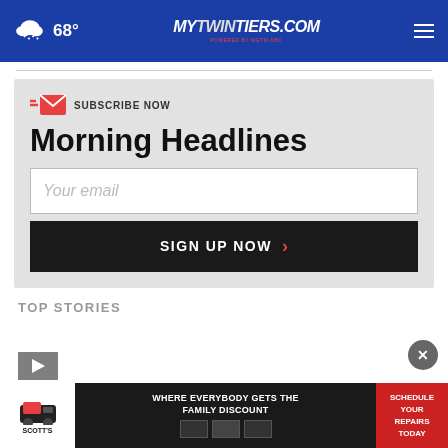68° mytwintiers.com
SUBSCRIBE NOW
Morning Headlines
Your email
SIGN UP NOW
TOP STORIES
[Figure (screenshot): Scott's auto repair advertisement banner: WHERE EVERYBODY GETS THE FAMILY DISCOUNT, SCHEDULE YOUR REPAIRS TODAY]